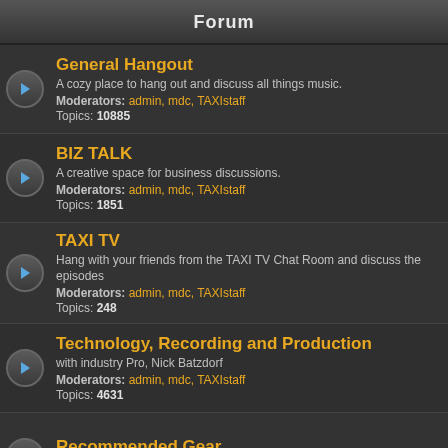Forum
General Hangout
A cozy place to hang out and discuss all things music.
Moderators: admin, mdc, TAXIstaff
Topics: 10885
BIZ TALK
A creative space for business discussions.
Moderators: admin, mdc, TAXIstaff
Topics: 1851
TAXI TV
Hang with your friends from the TAXI TV Chat Room and discuss the episodes
Moderators: admin, mdc, TAXIstaff
Topics: 248
Technology, Recording and Production
with industry Pro, Nick Batzdorf
Moderators: admin, mdc, TAXIstaff
Topics: 4631
Recommended Gear
Tell Your Friends about Gear that you love